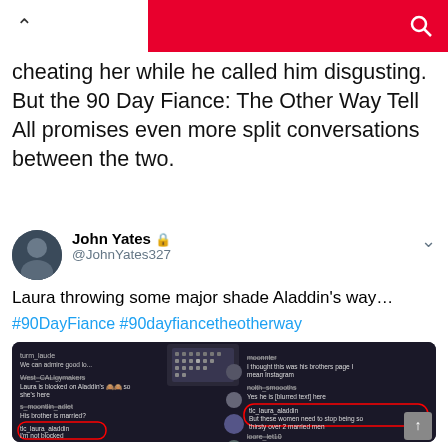^ [red bar with search icon]
cheating her while he called him disgusting. But the 90 Day Fiance: The Other Way Tell All promises even more split conversations between the two.
John Yates 🔒 @JohnYates327
Laura throwing some major shade Aladdin's way… #90DayFiance #90dayfiancetheotherway
[Figure (screenshot): Screenshot of social media comments about Laura and Aladdin from 90 Day Fiance, showing comments about Laura being blocked, his brother being married, and Laura's handle tlc_laura_aladdin saying she's not blocked, plus a circled comment about women being thirsty over married men. Red circle highlights around certain comments.]